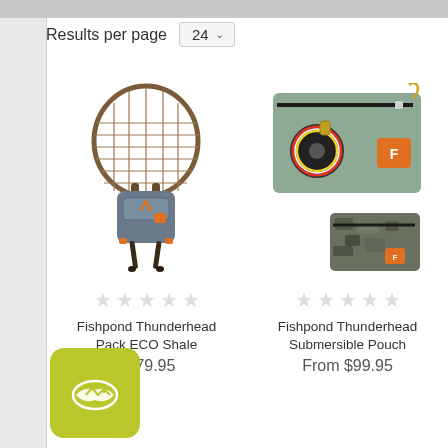Results per page  24
[Figure (photo): Fishpond Thunderhead Pack ECO Shale - fishing net backpack with orange accents]
★★★★★
Fishpond Thunderhead Pack ECO Shale
$179.95
[Figure (photo): Fishpond Thunderhead Submersible Pouch - sage green and camo waterproof pouches]
★★★★★
Fishpond Thunderhead Submersible Pouch
From $99.95
[Figure (logo): Fishpond brand logo on olive/yellow-green rounded square badge]